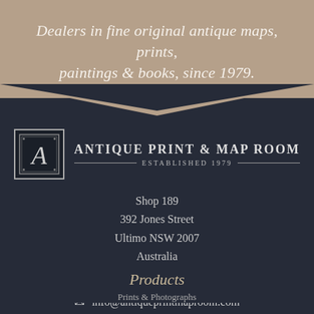Dealers in fine original antique maps, prints, paintings & books, since 1979.
[Figure (logo): Antique Print & Map Room logo with ornamental letter A in a square border, company name in capitals, and 'ESTABLISHED 1979' subtitle with horizontal rules]
Shop 189
392 Jones Street
Ultimo NSW 2007
Australia
+61 2 9267 4355
info@antiqueprintmaproom.com
Products
Prints & Photographs